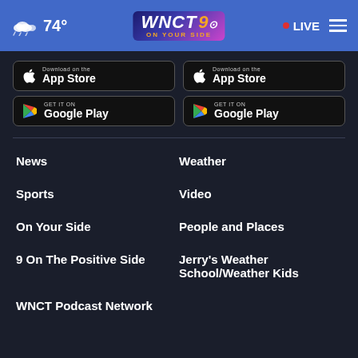74° WNCT 9 ON YOUR SIDE · LIVE
[Figure (screenshot): App Store download button (left)]
[Figure (screenshot): Google Play download button (left)]
[Figure (screenshot): App Store download button (right)]
[Figure (screenshot): Google Play download button (right)]
News
Weather
Sports
Video
On Your Side
People and Places
9 On The Positive Side
Jerry's Weather School/Weather Kids
WNCT Podcast Network